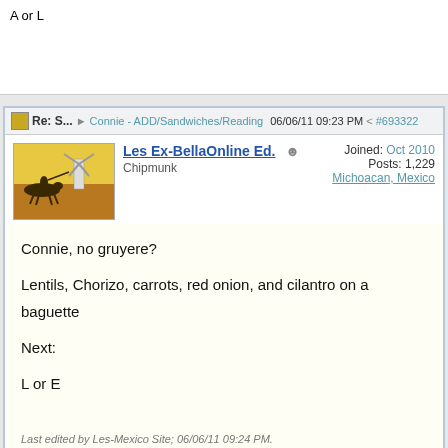A or L
Re: S... Connie - ADD/Sandwiches/Reading 06/06/11 09:23 PM #6933322
Les Ex-BellaOnline Ed. Chipmunk | Joined: Oct 2010 Posts: 1,229 Michoacan, Mexico
Connie, no gruyere?

Lentils, Chorizo, carrots, red onion, and cilantro on a baguette

Next:

L or E
Last edited by Les-Mexico Site; 06/06/11 09:24 PM.
Page 4 of 254  1 2 3 4 5 6 ... 253 254
Tweet  Like  Share  Hop To  Sandwiches